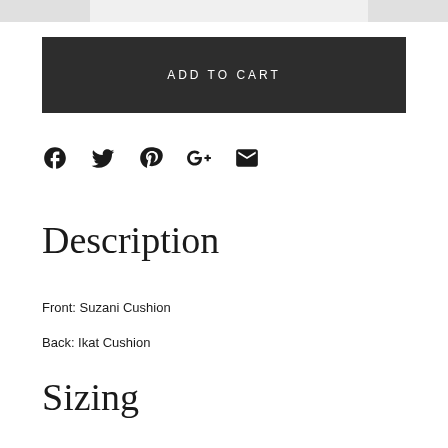[Figure (screenshot): Top navigation bar with left gray block, center light gray area, and right gray block]
ADD TO CART
[Figure (infographic): Social sharing icons: Facebook, Twitter, Pinterest, Google+, Email]
Description
Front: Suzani Cushion
Back: Ikat Cushion
Sizing